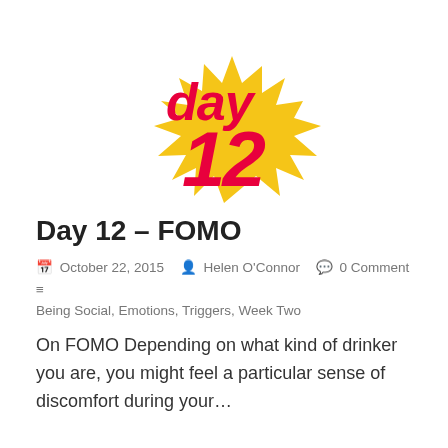[Figure (logo): Day 12 logo: the word 'day' in bold pink/red italic text, with '12' in large bold pink/red italic numerals, overlaid on a yellow starburst shape]
Day 12 – FOMO
October 22, 2015  Helen O'Connor  0 Comment  Being Social, Emotions, Triggers, Week Two
On FOMO Depending on what kind of drinker you are, you might feel a particular sense of discomfort during your…